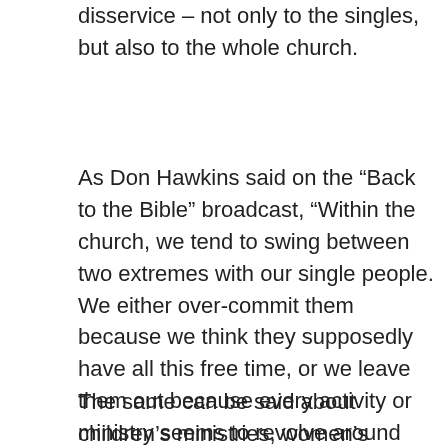disservice – not only to the singles, but also to the whole church.
As Don Hawkins said on the “Back to the Bible” broadcast, “Within the church, we tend to swing between two extremes with our single people. We either over-commit them because we think they supposedly have all this free time, or we leave them out because every activity or ministry seems to revolve around families.” Obviously, neither is healthy, either for singles or the church of which they are a part.
The same can be said about children’s ministries, women’s ministries, youth groups, and so forth. We all need each other. As singles we need the